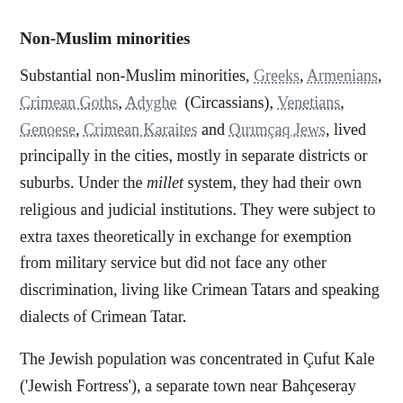Non-Muslim minorities
Substantial non-Muslim minorities, Greeks, Armenians, Crimean Goths, Adyghe (Circassians), Venetians, Genoese, Crimean Karaites and Qırımçaq Jews, lived principally in the cities, mostly in separate districts or suburbs. Under the millet system, they had their own religious and judicial institutions. They were subject to extra taxes theoretically in exchange for exemption from military service but did not face any other discrimination, living like Crimean Tatars and speaking dialects of Crimean Tatar.
The Jewish population was concentrated in Çufut Kale ('Jewish Fortress'), a separate town near Bahçeseray that was the Khan's original capital. As